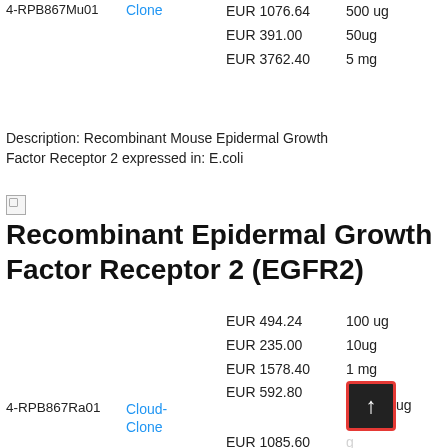4-RPB867Mu01   Clone   EUR 1076.64   500 ug
                       EUR 391.00    50ug
                       EUR 3762.40   5 mg
Description: Recombinant Mouse Epidermal Growth Factor Receptor 2 expressed in: E.coli
Recombinant Epidermal Growth Factor Receptor 2 (EGFR2)
4-RPB867Ra01   Cloud-Clone   EUR 494.24   100 ug
                              EUR 235.00   10ug
                              EUR 1578.40  1 mg
                              EUR 592.80   ...
                              EUR 1085.60  ...
                              EUR 394.00   50ug
                              EUR 3796.00  5 mg